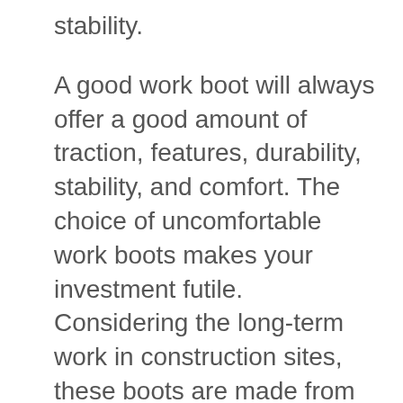stability.
A good work boot will always offer a good amount of traction, features, durability, stability, and comfort. The choice of uncomfortable work boots makes your investment futile. Considering the long-term work in construction sites, these boots are made from unique materials. These boots can withstand rigorous wear & tear and friction. The article below makes you familiar with the most comfortable work boots for men.